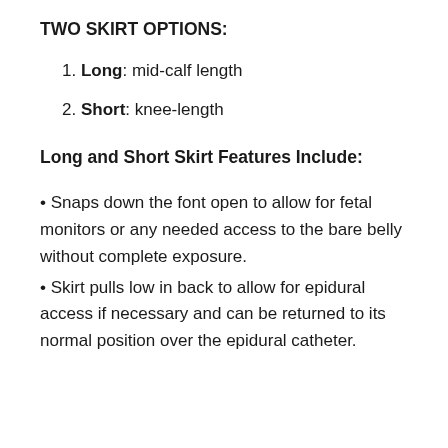TWO SKIRT OPTIONS:
1. Long: mid-calf length
2. Short: knee-length
Long and Short Skirt Features Include:
• Snaps down the font open to allow for fetal monitors or any needed access to the bare belly without complete exposure.
• Skirt pulls low in back to allow for epidural access if necessary and can be returned to its normal position over the epidural catheter.